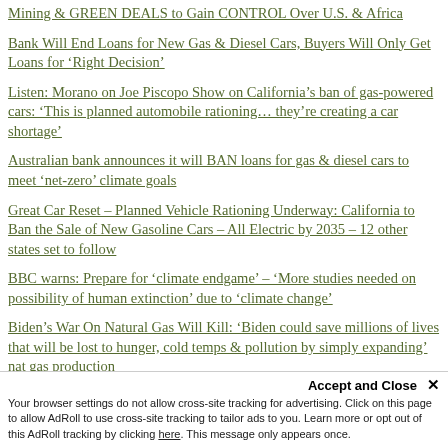Mining & GREEN DEALS to Gain CONTROL Over U.S. & Africa
Bank Will End Loans for New Gas & Diesel Cars, Buyers Will Only Get Loans for ‘Right Decision’
Listen: Morano on Joe Piscopo Show on California’s ban of gas-powered cars: ‘This is planned automobile rationing… they’re creating a car shortage’
Australian bank announces it will BAN loans for gas & diesel cars to meet ‘net-zero’ climate goals
Great Car Reset – Planned Vehicle Rationing Underway: California to Ban the Sale of New Gasoline Cars – All Electric by 2035 – 12 other states set to follow
BBC warns: Prepare for ‘climate endgame’ – ‘More studies needed on possibility of human extinction’ due to ‘climate change’
Biden’s War On Natural Gas Will Kill: ‘Biden could save millions of lives that will be lost to hunger, cold temps & pollution by simply expanding’ nat gas production
Accept and Close ×
Your browser settings do not allow cross-site tracking for advertising. Click on this page to allow AdRoll to use cross-site tracking to tailor ads to you. Learn more or opt out of this AdRoll tracking by clicking here. This message only appears once.